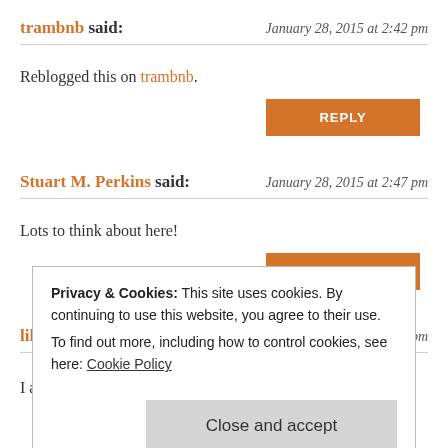trambnb said: — January 28, 2015 at 2:42 pm
Reblogged this on trambnb.
REPLY
Stuart M. Perkins said: — January 28, 2015 at 2:47 pm
Lots to think about here!
REPLY
lilypup said: — January 28, 2015 at 2:55 pm
I agree lots to think about. On a different path, is anyone else
Privacy & Cookies: This site uses cookies. By continuing to use this website, you agree to their use.
To find out more, including how to control cookies, see here: Cookie Policy
Close and accept